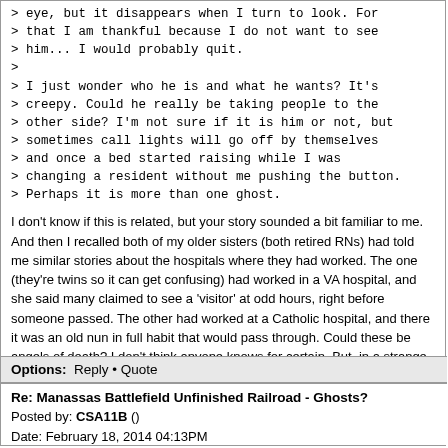> eye, but it disappears when I turn to look. For
> that I am thankful because I do not want to see
> him... I would probably quit.
>
> I just wonder who he is and what he wants? It's
> creepy. Could he really be taking people to the
> other side? I'm not sure if it is him or not, but
> sometimes call lights will go off by themselves
> and once a bed started raising while I was
> changing a resident without me pushing the button.
> Perhaps it is more than one ghost.
I don't know if this is related, but your story sounded a bit familiar to me. And then I recalled both of my older sisters (both retired RNs) had told me similar stories about the hospitals where they had worked. The one (they're twins so it can get confusing) had worked in a VA hospital, and she said many claimed to see a 'visitor' at odd hours, right before someone passed. The other had worked at a Catholic hospital, and there it was an old nun in full habit that would pass through. Could these be angels of death? I don't think anyone knows for certain. But, in a strange way, is not the thought comforting? If someone comes for us, when we pass, then no one ever really dies alone. We tend to think of death as something to be feared and fought against. But what about when the pain and quality of life outweigh what joy a body has? Would death not be welcomed then? And perhaps, they only come for those who are ready to go. Who knows?
Options: Reply • Quote
Re: Manassas Battlefield Unfinished Railroad - Ghosts?
Posted by: CSA11B ()
Date: February 18, 2014 04:13PM